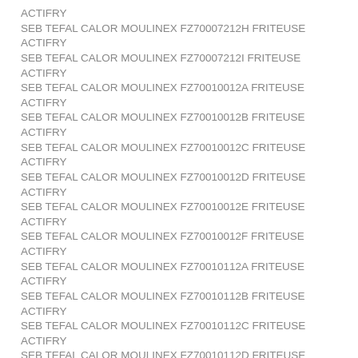ACTIFRY
SEB TEFAL CALOR MOULINEX FZ70007212H FRITEUSE ACTIFRY
SEB TEFAL CALOR MOULINEX FZ70007212I FRITEUSE ACTIFRY
SEB TEFAL CALOR MOULINEX FZ70010012A FRITEUSE ACTIFRY
SEB TEFAL CALOR MOULINEX FZ70010012B FRITEUSE ACTIFRY
SEB TEFAL CALOR MOULINEX FZ70010012C FRITEUSE ACTIFRY
SEB TEFAL CALOR MOULINEX FZ70010012D FRITEUSE ACTIFRY
SEB TEFAL CALOR MOULINEX FZ70010012E FRITEUSE ACTIFRY
SEB TEFAL CALOR MOULINEX FZ70010012F FRITEUSE ACTIFRY
SEB TEFAL CALOR MOULINEX FZ70010112A FRITEUSE ACTIFRY
SEB TEFAL CALOR MOULINEX FZ70010112B FRITEUSE ACTIFRY
SEB TEFAL CALOR MOULINEX FZ70010112C FRITEUSE ACTIFRY
SEB TEFAL CALOR MOULINEX FZ70010112D FRITEUSE ACTIFRY